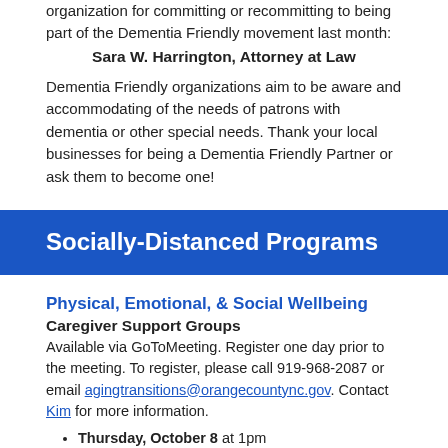organization for committing or recommitting to being part of the Dementia Friendly movement last month:
Sara W. Harrington, Attorney at Law
Dementia Friendly organizations aim to be aware and accommodating of the needs of patrons with dementia or other special needs. Thank your local businesses for being a Dementia Friendly Partner or ask them to become one!
Socially-Distanced Programs
Physical, Emotional, & Social Wellbeing
Caregiver Support Groups
Available via GoToMeeting. Register one day prior to the meeting. To register, please call 919-968-2087 or email agingtransitions@orangecountync.gov. Contact Kim for more information.
Thursday, October 8 at 1pm
Friday, October 9 at 10:30am
Thursday, October 22 at 1pm
Friday, October 23 at 10:30am
Chapel Hill Parkinson's Support Group
Available via Zoom - contact Jessica Shurer (919-843-1657)